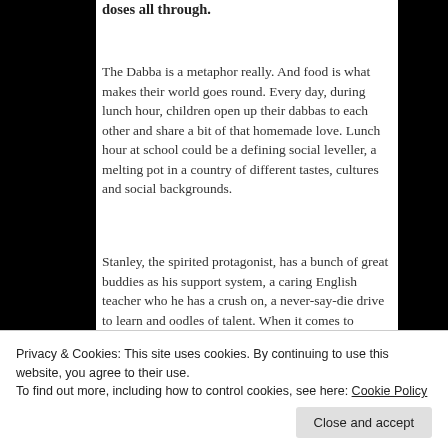doses all through.
The Dabba is a metaphor really. And food is what makes their world goes round. Every day, during lunch hour, children open up their dabbas to each other and share a bit of that homemade love. Lunch hour at school could be a defining social leveller, a melting pot in a country of different tastes, cultures and social backgrounds.
Stanley, the spirited protagonist, has a bunch of great buddies as his support system, a caring English teacher who he has a crush on, a never-say-die drive to learn and oodles of talent. When it comes to intelligence, he's the anti-thesis to the dyslexic Ishaan (Darsheel Safari) in Amole Gupte's first script, 'Taare Zameen Par' (He was
The film is our window to his world and to many
Privacy & Cookies: This site uses cookies. By continuing to use this website, you agree to their use.
To find out more, including how to control cookies, see here: Cookie Policy